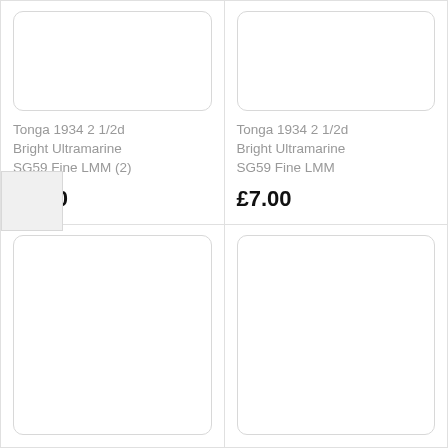[Figure (other): Product listing card — stamp image placeholder (rounded rectangle, top-left cell)]
Tonga 1934 2 1/2d Bright Ultramarine SG59 Fine LMM (2)
£7.00
[Figure (other): Product listing card — stamp image placeholder (rounded rectangle, top-right cell)]
Tonga 1934 2 1/2d Bright Ultramarine SG59 Fine LMM
£7.00
[Figure (other): Product listing card — stamp image placeholder (rounded rectangle, bottom-left cell)]
[Figure (other): Product listing card — stamp image placeholder (rounded rectangle, bottom-right cell)]